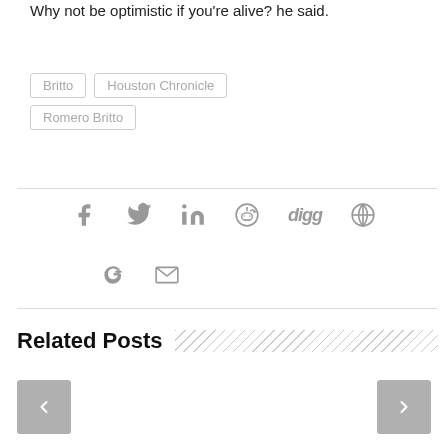Why not be optimistic if you're alive? he said.
Britto
Houston Chronicle
Romero Britto
[Figure (infographic): Social sharing icons: Facebook, Twitter, LinkedIn, Reddit, Digg, Globe/share, Google+, Email]
Related Posts